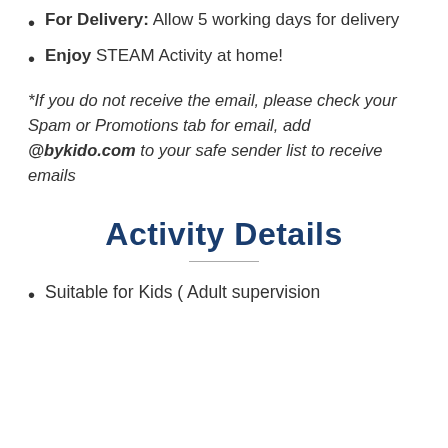For Delivery: Allow 5 working days for delivery
Enjoy STEAM Activity at home!
*If you do not receive the email, please check your Spam or Promotions tab for email, add @bykido.com to your safe sender list to receive emails
Activity Details
Suitable for Kids ( Adult supervision